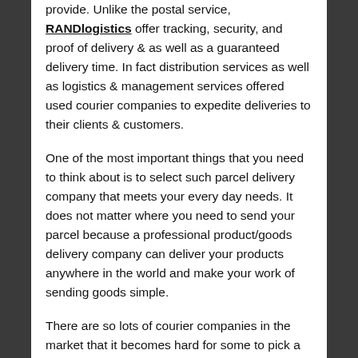provide. Unlike the postal service, RANDlogistics offer tracking, security, and proof of delivery & as well as a guaranteed delivery time. In fact distribution services as well as logistics & management services offered used courier companies to expedite deliveries to their clients & customers.
One of the most important things that you need to think about is to select such parcel delivery company that meets your every day needs. It does not matter where you need to send your parcel because a professional product/goods delivery company can deliver your products anywhere in the world and make your work of sending goods simple.
There are so lots of courier companies in the market that it becomes hard for some to pick a company best suited for him or her. It may also be lovely to go through a courier broker. A courier broker helps you to plan your parcel's transit effectively They help you to plan your courier needs, proposing the best way to send packages